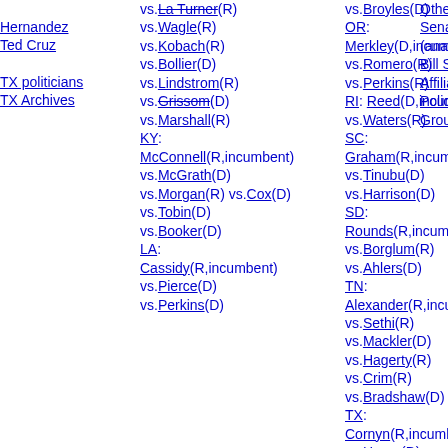Hernandez
Ted Cruz
TX politicians
TX Archives
vs.La Turner(R)
vs.Wagle(R)
vs.Kobach(R)
vs.Bollier(D)
vs.Lindstrom(R)
vs.Grissom(D)
vs.Marshall(R)
KY:
McConnell(R,incumbent)
vs.McGrath(D)
vs.Morgan(R) vs.Cox(D)
vs.Tobin(D)
vs.Booker(D)
LA:
Cassidy(R,incumbent)
vs.Pierce(D)
vs.Perkins(D)
vs.Broyles(D)
OR:
Merkley(D,incumbent)
vs.Romero(R)
vs.Perkins(R)
RI: Reed(D,incumbent)
vs.Waters(R)
SC:
Graham(R,incumbent)
vs.Tinubu(D)
vs.Harrison(D)
SD:
Rounds(R,incumbent)
vs.Borglum(R)
vs.Ahlers(D)
TN:
Alexander(R,incumbent)
vs.Sethi(R)
vs.Mackler(D)
vs.Hagerty(R)
vs.Crim(R)
vs.Bradshaw(D)
TX:
Cornyn(R,incumbent)
vs.Hegar(D)
vs.Hernandez(D)
vs.Bell(D)
vs.Ramirez(D)
vs.West(D)
VA:
Other
Sena
(anal
Bill S
Affilia
Policy
Grou